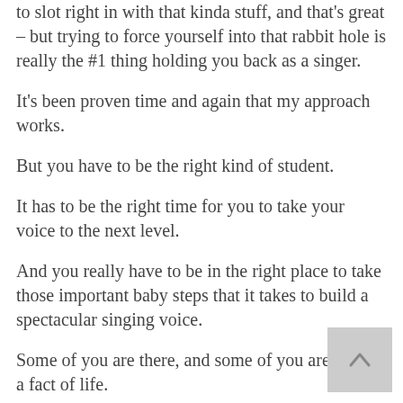to slot right in with that kinda stuff, and that's great – but trying to force yourself into that rabbit hole is really the #1 thing holding you back as a singer.

It's been proven time and again that my approach works.

But you have to be the right kind of student.

It has to be the right time for you to take your voice to the next level.

And you really have to be in the right place to take those important baby steps that it takes to build a spectacular singing voice.

Some of you are there, and some of you aren't – it's a fact of life.

For many years, I just wasn't there.

By no fault of my own, by no fault of my